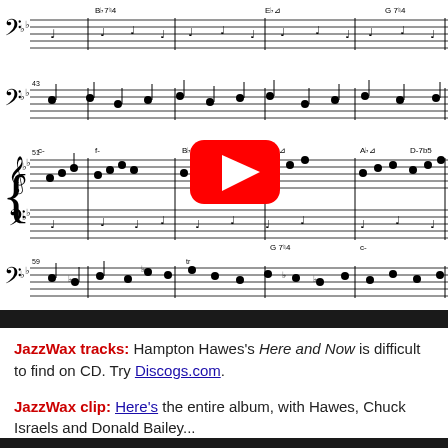[Figure (illustration): Sheet music notation showing multiple staves with bass clef, notes, chord symbols (c-, f-, Bb7, Eb, Ab, D-7b5, G79, etc.) and a YouTube play button overlay in the center]
JazzWax tracks: Hampton Hawes's Here and Now is difficult to find on CD. Try Discogs.com.
JazzWax clip: Here's the entire album, with Hawes, Chuck Israels and Donald Bailey...